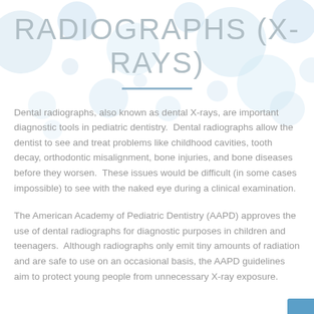[Figure (illustration): Decorative background with light blue circles of various sizes arranged across the top portion of the page]
RADIOGRAPHS (X-RAYS)
Dental radiographs, also known as dental X-rays, are important diagnostic tools in pediatric dentistry. Dental radiographs allow the dentist to see and treat problems like childhood cavities, tooth decay, orthodontic misalignment, bone injuries, and bone diseases before they worsen. These issues would be difficult (in some cases impossible) to see with the naked eye during a clinical examination.
The American Academy of Pediatric Dentistry (AAPD) approves the use of dental radiographs for diagnostic purposes in children and teenagers. Although radiographs only emit tiny amounts of radiation and are safe to use on an occasional basis, the AAPD guidelines aim to protect young people from unnecessary X-ray exposure.